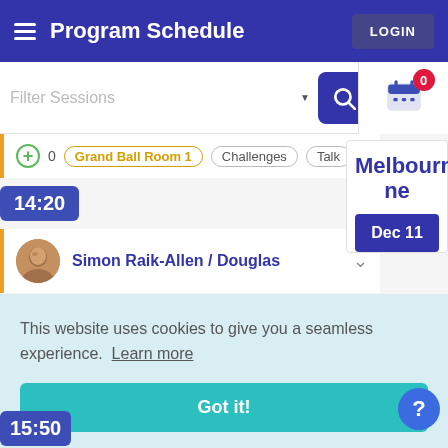Program Schedule  LOGIN
Filter Sessions
0
Melbourne
Dec 11
⊕ 0  Grand Ball Room 1  Challenges  Talk
14:20
Simon Raik-Allen / Douglas
This website uses cookies to give you a seamless experience. Learn more
Got it!
15:50